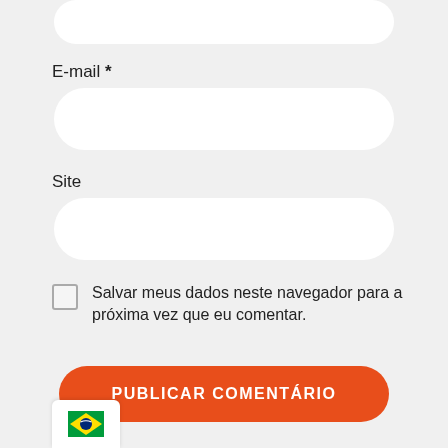[Figure (screenshot): Top portion of a form input field (rounded white rectangle, cropped at top)]
E-mail *
[Figure (screenshot): Email input field (rounded white rectangle)]
Site
[Figure (screenshot): Site input field (rounded white rectangle)]
Salvar meus dados neste navegador para a próxima vez que eu comentar.
[Figure (screenshot): Orange rounded button with text PUBLICAR COMENTÁRIO]
[Figure (screenshot): Brazilian flag widget in bottom-left corner]